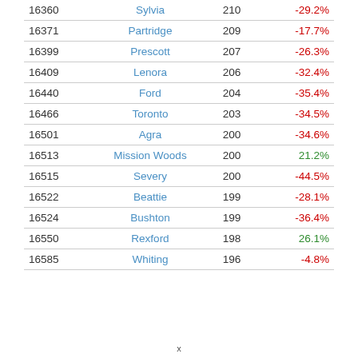| ID | Name | Value | Change |
| --- | --- | --- | --- |
| 16360 | Sylvia | 210 | -29.2% |
| 16371 | Partridge | 209 | -17.7% |
| 16399 | Prescott | 207 | -26.3% |
| 16409 | Lenora | 206 | -32.4% |
| 16440 | Ford | 204 | -35.4% |
| 16466 | Toronto | 203 | -34.5% |
| 16501 | Agra | 200 | -34.6% |
| 16513 | Mission Woods | 200 | 21.2% |
| 16515 | Severy | 200 | -44.5% |
| 16522 | Beattie | 199 | -28.1% |
| 16524 | Bushton | 199 | -36.4% |
| 16550 | Rexford | 198 | 26.1% |
| 16585 | Whiting | 196 | -4.8% |
x